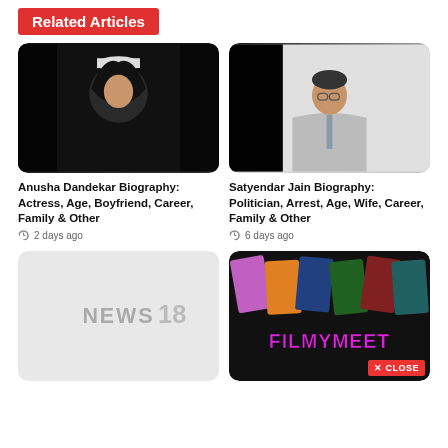Related Articles
[Figure (photo): Photo of Anusha Dandekar wearing a white cap against a dark background]
Anusha Dandekar Biography: Actress, Age, Boyfriend, Career, Family & Other
2 days ago
[Figure (photo): Photo of Satyendar Jain in a grey suit against a light background]
Satyendar Jain Biography: Politician, Arrest, Age, Wife, Career, Family & Other
6 days ago
[Figure (logo): NEWS18 logo on a light grey background]
[Figure (screenshot): Filmymeet logo with colorful movie posters collage on dark background with CLOSE button]